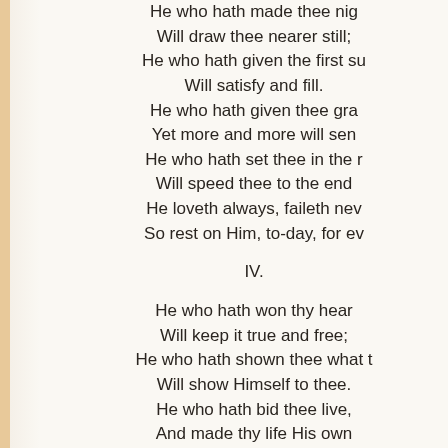He who hath made thee nigh,
Will draw thee nearer still;
He who hath given the first supply,
Will satisfy and fill.
He who hath given thee grace,
Yet more and more will send;
He who hath set thee in the race,
Will speed thee to the end.
He loveth always, faileth never,
So rest on Him, to-day, for ever.
IV.
He who hath won thy heart,
Will keep it true and free;
He who hath shown thee what thou art,
Will show Himself to thee.
He who hath bid thee live,
And made thy life His own,
Life more abundantly will give,
And keep it His alone.
He loveth always, faileth never,
So rest on Him, to-day, for ever.
V.
Then trust Him for to-day,
As thine unfailing Friend,
And let Him lead thee all the way,
Who loveth to the end.
And let the morrow rest...